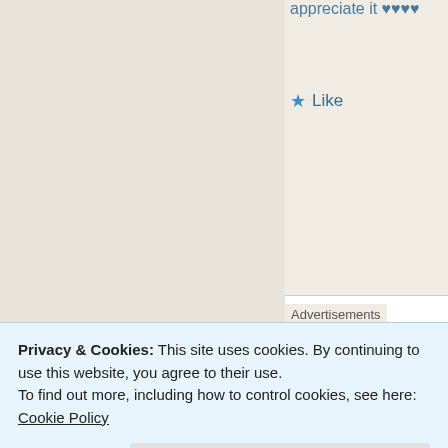appreciate it ♥♥♥♥
★ Like
Advertisements
[Figure (illustration): Blue advertisement banner with a circular notebook icon and a cartoon person figure, text reading 'DAY ON' at the bottom]
Privacy & Cookies: This site uses cookies. By continuing to use this website, you agree to their use.
To find out more, including how to control cookies, see here:
Cookie Policy
Close and accept